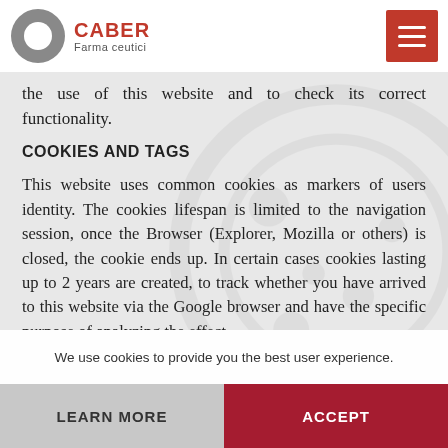[Figure (logo): Caber Farmaceutici logo with stylized C in grey and red, company name in red bold text]
the use of this website and to check its correct functionality.
COOKIES AND TAGS
This website uses common cookies as markers of users identity. The cookies lifespan is limited to the navigation session, once the Browser (Explorer, Mozilla or others) is closed, the cookie ends up. In certain cases cookies lasting up to 2 years are created, to track whether you have arrived to this website via the Google browser and have the specific purpose of analyzing the effect
We use cookies to provide you the best user experience.
LEARN MORE
ACCEPT